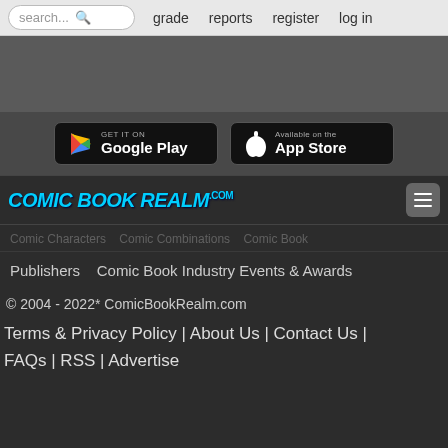search...  grade  reports  register  log in
[Figure (screenshot): Gray banner advertisement area]
[Figure (logo): GET IT ON Google Play button]
[Figure (logo): Available on the App Store button]
[Figure (logo): Comic Book Realm .com logo with hamburger menu]
Comic Characters  Comic Combinations  Comic Book
Publishers  Comic Book Industry Events & Awards
© 2004 - 2022* ComicBookRealm.com
Terms & Privacy Policy | About Us | Contact Us | FAQs | RSS | Advertise